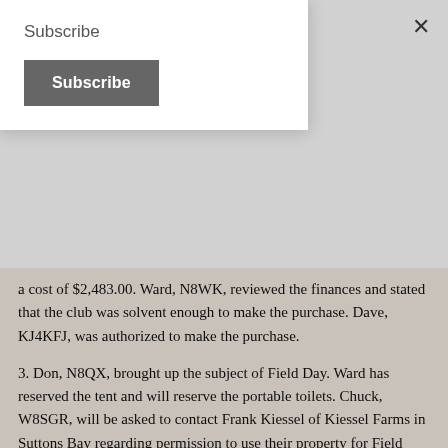Subscribe
Subscribe
×
a cost of $2,483.00. Ward, N8WK, reviewed the finances and stated that the club was solvent enough to make the purchase. Dave, KJ4KFJ, was authorized to make the purchase.
3. Don, N8QX, brought up the subject of Field Day. Ward has reserved the tent and will reserve the portable toilets. Chuck, W8SGR, will be asked to contact Frank Kiessel of Kiessel Farms in Suttons Bay regarding permission to use their property for Field Day.
4. Don, N8QX, advised that the club picnic will be July 24, 2012 at the Saylor Park in Yuba. Ward, N8WK, will contact the Township to confirm the date. It will be in lieu of our regular club meeting on the fourth Tuesday of the month.
5. Discussion of May meeting. Dave, KF4KFJ, suggested